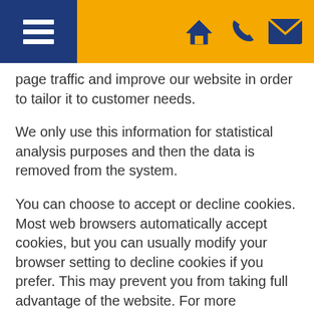Menu, Home, Phone, Email icons
page traffic and improve our website in order to tailor it to customer needs.
We only use this information for statistical analysis purposes and then the data is removed from the system.
You can choose to accept or decline cookies. Most web browsers automatically accept cookies, but you can usually modify your browser setting to decline cookies if you prefer. This may prevent you from taking full advantage of the website. For more information about web cookies please visit our Web Cookies Information Page
Links to other websites